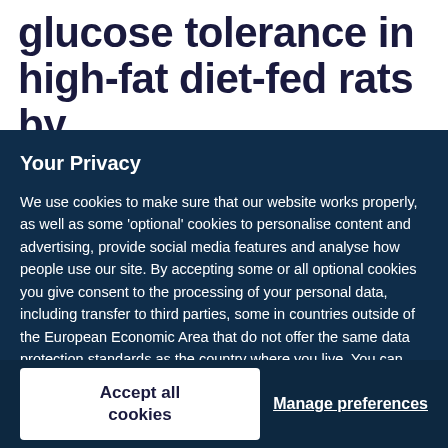glucose tolerance in high-fat diet-fed rats by
Your Privacy
We use cookies to make sure that our website works properly, as well as some ‘optional’ cookies to personalise content and advertising, provide social media features and analyse how people use our site. By accepting some or all optional cookies you give consent to the processing of your personal data, including transfer to third parties, some in countries outside of the European Economic Area that do not offer the same data protection standards as the country where you live. You can decide which optional cookies to accept by clicking on ‘Manage Settings’, where you can also find more information about how your personal data is processed. Further information can be found in our privacy policy.
Accept all cookies
Manage preferences